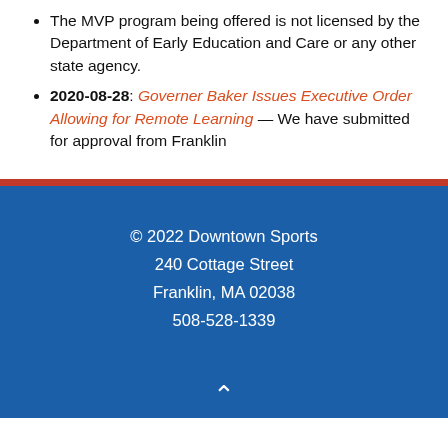The MVP program being offered is not licensed by the Department of Early Education and Care or any other state agency.
2020-08-28: Governer Baker Issues Executive Order Allowing for Remote Learning — We have submitted for approval from Franklin
© 2022 Downtown Sports
240 Cottage Street
Franklin, MA 02038
508-528-1339